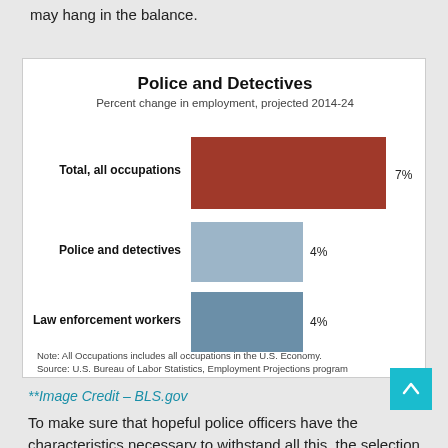may hang in the balance.
[Figure (bar-chart): Police and Detectives]
Note: All Occupations includes all occupations in the U.S. Economy.
Source: U.S. Bureau of Labor Statistics, Employment Projections program
**Image Credit – BLS.gov
To make sure that hopeful police officers have the characteristics necessary to withstand all this, the selection